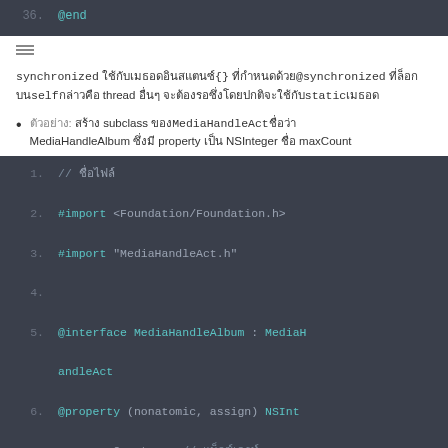[Figure (screenshot): Code block showing line 36 with @end in Objective-C, dark background editor]
synchronized ใช้กับเมธอดอินสแตนซ์{} ที่กำหนดด้วย@synchronized ที่ล็อกบน self กล่าวคือ thread อื่นๆ จะต้องรอซึ่งโดยปกติจะใช้กับstatic เมธอด
ตัวอย่าง: สร้าง subclass ของMediaHandleActชื่อว่า MediaHandleAlbum ซึ่งมี property เป็น NSInteger ชื่อ maxCount
[Figure (screenshot): Code block showing Objective-C interface declaration: lines 1-7 with imports, @interface MediaHandleAlbum : MediaHandleAct, @property (nonatomic, assign) NSInteger maxCount]